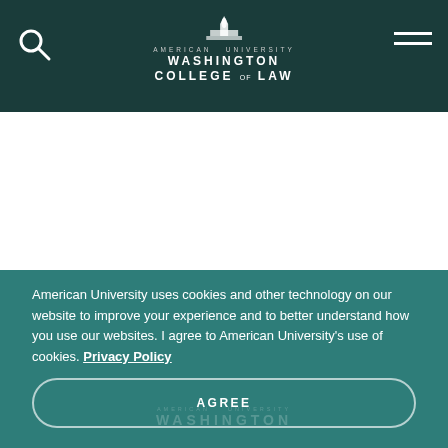American University Washington College of Law
American University uses cookies and other technology on our website to improve your experience and to better understand how you use our websites. I agree to American University's use of cookies. Privacy Policy
AGREE